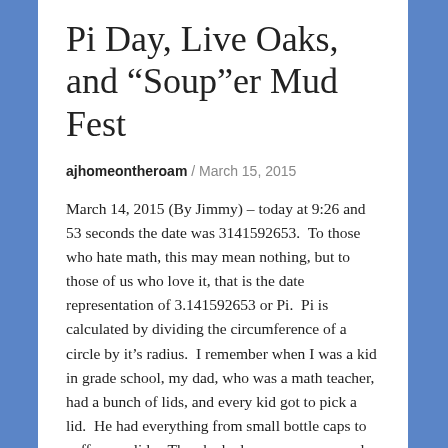Pi Day, Live Oaks, and “Soup”er Mud Fest
ajhomeontheroam / March 15, 2015
March 14, 2015 (By Jimmy) – today at 9:26 and 53 seconds the date was 3141592653.  To those who hate math, this may mean nothing, but to those of us who love it, that is the date representation of 3.141592653 or Pi.  Pi is calculated by dividing the circumference of a circle by it’s radius.  I remember when I was a kid in grade school, my dad, who was a math teacher, had a bunch of lids, and every kid got to pick a lid.  He had everything from small bottle caps to coffee can lids.  Then he had us measure around the lid and from the center to the outer edge and divide.  How funny.  We all seemed to come up with the same answer no matter how big or small the lid was.  Okay, I have a love for math; my dad was a math teacher, and I’m an accountant, so numbers are a part of me.  So when Pi day